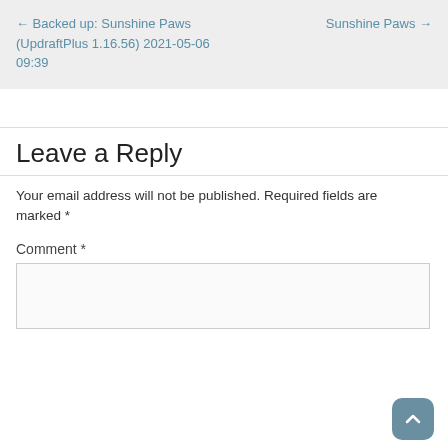← Backed up: Sunshine Paws (UpdraftPlus 1.16.56) 2021-05-06 09:39
Sunshine Paws →
Leave a Reply
Your email address will not be published. Required fields are marked *
Comment *